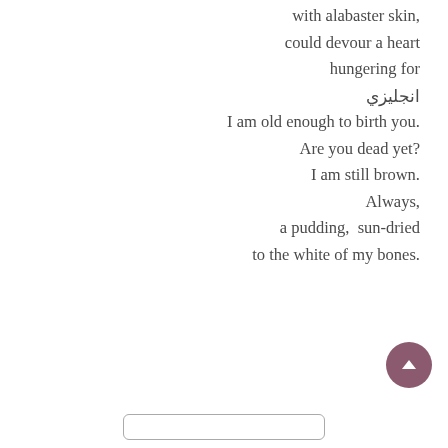with alabaster skin,

could devour a heart

hungering for

انجليزي

I am old enough to birth you.

Are you dead yet?

I am still brown.

Always,

a pudding,  sun-dried

to the white of my bones.